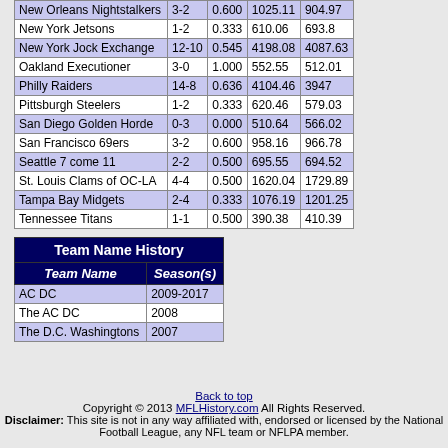| Team | W-L | Pct | PF | PA |
| --- | --- | --- | --- | --- |
| New Orleans Nightstalkers | 3-2 | 0.600 | 1025.11 | 904.97 |
| New York Jetsons | 1-2 | 0.333 | 610.06 | 693.8 |
| New York Jock Exchange | 12-10 | 0.545 | 4198.08 | 4087.63 |
| Oakland Executioner | 3-0 | 1.000 | 552.55 | 512.01 |
| Philly Raiders | 14-8 | 0.636 | 4104.46 | 3947 |
| Pittsburgh Steelers | 1-2 | 0.333 | 620.46 | 579.03 |
| San Diego Golden Horde | 0-3 | 0.000 | 510.64 | 566.02 |
| San Francisco 69ers | 3-2 | 0.600 | 958.16 | 966.78 |
| Seattle 7 come 11 | 2-2 | 0.500 | 695.55 | 694.52 |
| St. Louis Clams of OC-LA | 4-4 | 0.500 | 1620.04 | 1729.89 |
| Tampa Bay Midgets | 2-4 | 0.333 | 1076.19 | 1201.25 |
| Tennessee Titans | 1-1 | 0.500 | 390.38 | 410.39 |
| Team Name | Season(s) |
| --- | --- |
| AC DC | 2009-2017 |
| The AC DC | 2008 |
| The D.C. Washingtons | 2007 |
Back to top
Copyright © 2013 MFLHistory.com All Rights Reserved.
Disclaimer: This site is not in any way affiliated with, endorsed or licensed by the National Football League, any NFL team or NFLPA member.